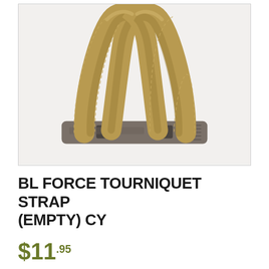[Figure (photo): A BL Force tourniquet strap (empty) in coyote/tan color. Two loops of wide tan/khaki nylon webbing strap are coiled and threaded through a flat gray plastic buckle/clip base. The strap has visible stitching along its edges. The product sits on a white background.]
BL FORCE TOURNIQUET STRAP (EMPTY) CY
$11.95